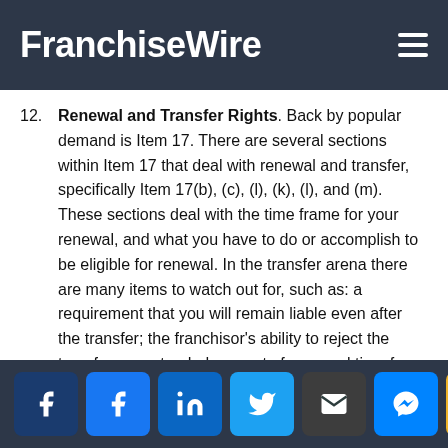FranchiseWire
12. Renewal and Transfer Rights. Back by popular demand is Item 17. There are several sections within Item 17 that deal with renewal and transfer, specifically Item 17(b), (c), (l), (k), (l), and (m). These sections deal with the time frame for your renewal, and what you have to do or accomplish to be eligible for renewal. In the transfer arena there are many items to watch out for, such as: a requirement that you will remain liable even after the transfer; the franchisor's ability to reject the transfer; an extended amount of approval time for the transfer; or an unreasonable definition of the
Social share buttons: Facebook, Facebook, LinkedIn, Twitter, Email, Messenger, Scroll to top